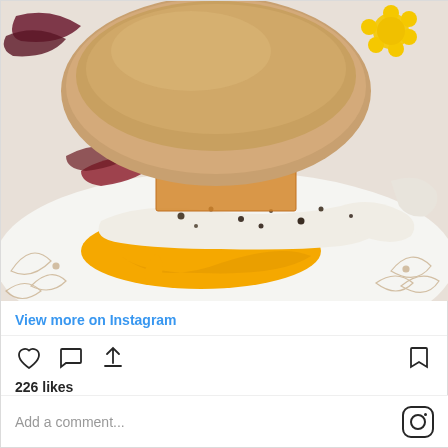[Figure (photo): Close-up photo of an egg sandwich with a runny fried egg, cheese slice, and bread bun on a white plate with floral design. The egg yolk is broken and spreading across the plate.]
View more on Instagram
[Figure (infographic): Instagram action icons: heart (like), speech bubble (comment), share arrow, bookmark]
226 likes
Add a comment...